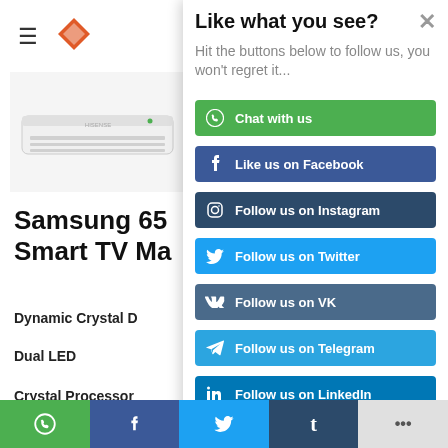[Figure (screenshot): Left panel of a product page showing a hamburger menu icon, a diamond logo, an air conditioner product image, product title 'Samsung 65 Smart TV Ma...', and specs: Dynamic Crystal D, Dual LED, Crystal Processor]
Like what you see?
Hit the buttons below to follow us, you won't regret it...
Chat with us
Like us on Facebook
Follow us on Instagram
Follow us on Twitter
Follow us on VK
Follow us on Telegram
Follow us on LinkedIn